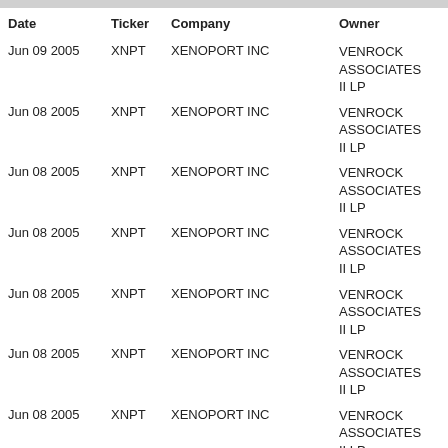| Date | Ticker | Company | Owner | R |
| --- | --- | --- | --- | --- |
| Jun 09 2005 | XNPT | XENOPORT INC | VENROCK ASSOCIATES II LP | 1 |
| Jun 08 2005 | XNPT | XENOPORT INC | VENROCK ASSOCIATES II LP | 1 |
| Jun 08 2005 | XNPT | XENOPORT INC | VENROCK ASSOCIATES II LP | 1 |
| Jun 08 2005 | XNPT | XENOPORT INC | VENROCK ASSOCIATES II LP | 1 |
| Jun 08 2005 | XNPT | XENOPORT INC | VENROCK ASSOCIATES II LP | 1 |
| Jun 08 2005 | XNPT | XENOPORT INC | VENROCK ASSOCIATES II LP | 1 |
| Jun 08 2005 | XNPT | XENOPORT INC | VENROCK ASSOCIATES II LP | 1 |